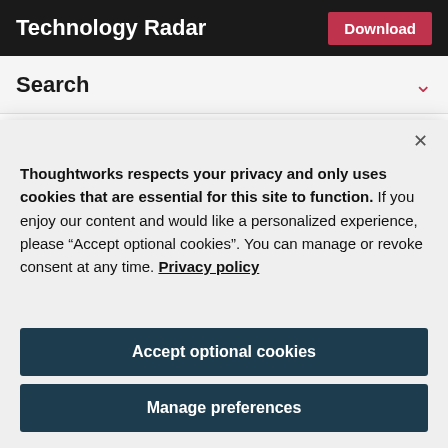Technology Radar
Search
layer, you want to implement some end-to-
Thoughtworks respects your privacy and only uses cookies that are essential for this site to function. If you enjoy our content and would like a personalized experience, please “Accept optional cookies”. You can manage or revoke consent at any time. Privacy policy
Accept optional cookies
Manage preferences